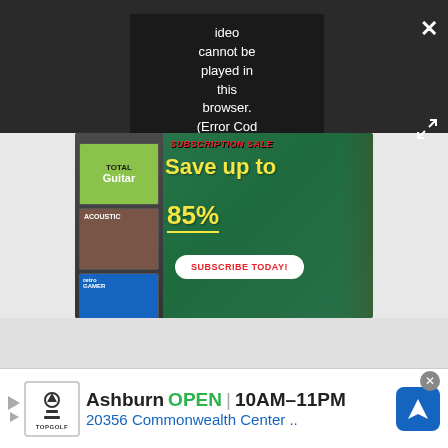[Figure (screenshot): Video player dark bar with error tooltip showing 'PLAY SOUND / Video cannot be played in this browser. (Error Cod' and close/expand buttons]
[Figure (screenshot): Magazine subscription sale advertisement on green chalkboard background with text 'SUBSCRIPTION SALE', 'Save up to 85%', 'SUBSCRIBE TODAY!' button, and magazine covers on the left]
[Figure (screenshot): Topgolf advertisement banner showing 'Ashburn OPEN | 10AM-11PM / 20356 Commonwealth Center ..' with Topgolf logo and navigation arrow icon]